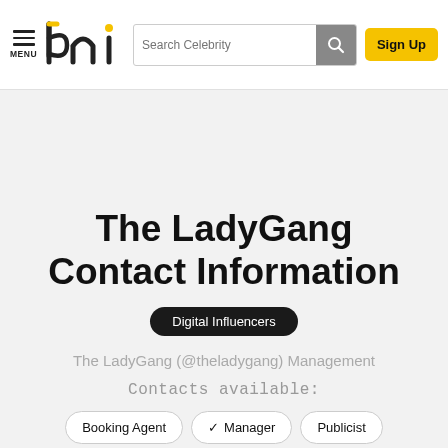MENU | bni logo | Search Celebrity | Sign Up
The LadyGang Contact Information
Digital Influencers
The LadyGang (@theladygang) Management
Contacts available:
Booking Agent  ✓ Manager  Publicist